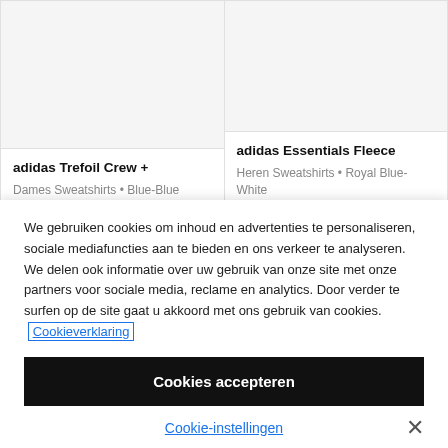adidas Trefoil Crew +
Dames Sweatshirts • Blue-Blue
adidas Essentials Fleece
Heren Sweatshirts • Royal Blue-White
We gebruiken cookies om inhoud en advertenties te personaliseren, sociale mediafuncties aan te bieden en ons verkeer te analyseren. We delen ook informatie over uw gebruik van onze site met onze partners voor sociale media, reclame en analytics. Door verder te surfen op de site gaat u akkoord met ons gebruik van cookies. Cookieverklaring
Cookies accepteren
Cookie-instellingen